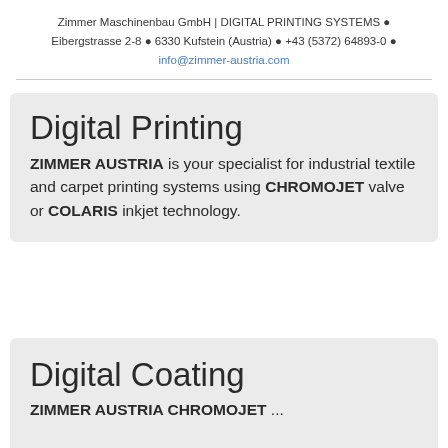Zimmer Maschinenbau GmbH | DIGITAL PRINTING SYSTEMS ● Eibergstrasse 2-8 ● 6330 Kufstein (Austria) ● +43 (5372) 64893-0 ● info@zimmer-austria.com
Digital Printing
ZIMMER AUSTRIA is your specialist for industrial textile and carpet printing systems using CHROMOJET valve or COLARIS inkjet technology.
Digital Coating
ZIMMER AUSTRIA CHROMOJET ...